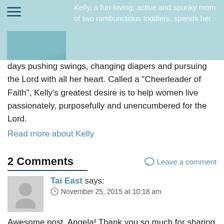[Figure (photo): Top banner with light teal background, hamburger menu icon top-left, and partial profile photo of Kelly bottom-left. Faded text overlay reads 'Kelly, a fun-loving, active and spunky mom of two rambunctious toddlers, spends her']
days pushing swings, changing diapers and pursuing the Lord with all her heart. Called a "Cheerleader of Faith", Kelly's greatest desire is to help women live passionately, purposefully and unencumbered for the Lord.
Read more about Kelly
2 Comments
Leave a comment
Tai East says:
November 25, 2015 at 10:18 am
Awesome post, Angela! Thank you so much for sharing such an encouraging word!
"We can only be said to be alive in those moments when our